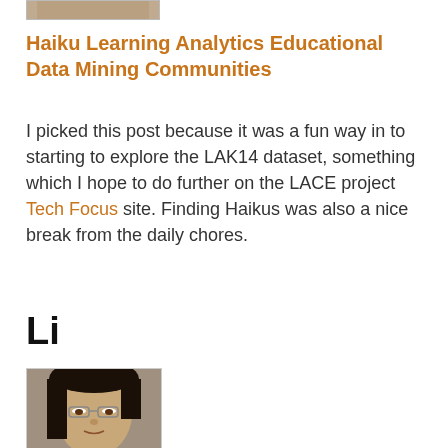[Figure (photo): Partial top of a portrait photo, cropped at top of page]
Haiku Learning Analytics Educational Data Mining Communities
I picked this post because it was a fun way in to starting to explore the LAK14 dataset, something which I hope to do further on the LACE project Tech Focus site. Finding Haikus was also a nice break from the daily chores.
Li
[Figure (photo): Portrait photo of a woman with dark hair and glasses, partial view]